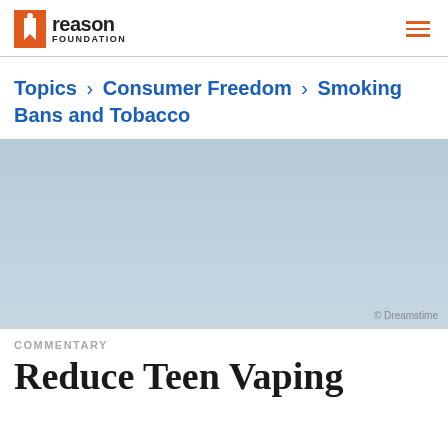Reason Foundation
Topics › Consumer Freedom › Smoking Bans and Tobacco
[Figure (photo): Background photo area with Dreamstime copyright credit]
© Dreamstime
COMMENTARY
Reduce Teen Vaping